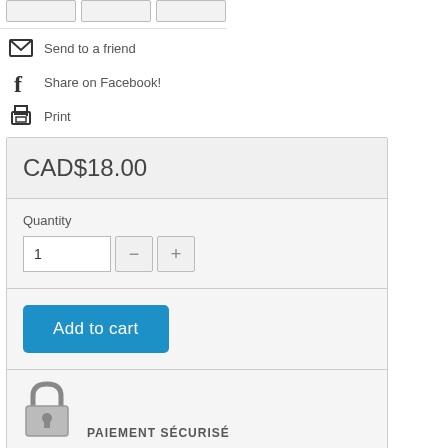[Figure (screenshot): Top bar with three button placeholders]
Send to a friend
Share on Facebook!
Print
CAD$18.00
Quantity
1
Add to cart
PAIEMENT SÉCURISÉ